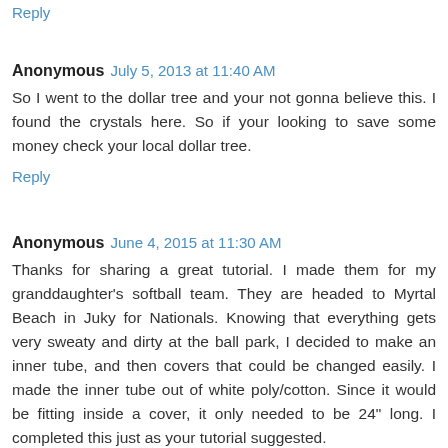Reply
Anonymous  July 5, 2013 at 11:40 AM
So I went to the dollar tree and your not gonna believe this. I found the crystals here. So if your looking to save some money check your local dollar tree.
Reply
Anonymous  June 4, 2015 at 11:30 AM
Thanks for sharing a great tutorial. I made them for my granddaughter's softball team. They are headed to Myrtal Beach in Juky for Nationals. Knowing that everything gets very sweaty and dirty at the ball park, I decided to make an inner tube, and then covers that could be changed easily. I made the inner tube out of white poly/cotton. Since it would be fitting inside a cover, it only needed to be 24" long. I completed this just as your tutorial suggested.
For the covers, we wanted them to feel soft on the skin. I purchased a Lycra blend that is used for sportswear. It